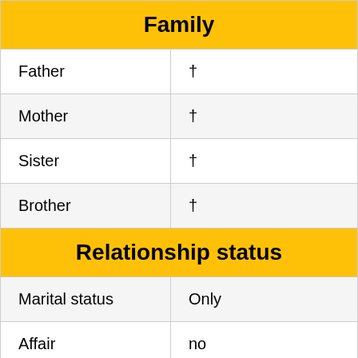| Family |  |
| --- | --- |
| Father | † |
| Mother | † |
| Sister | † |
| Brother | † |
| Relationship status |  |
| --- | --- |
| Marital status | Only |
| Affair | no |
| Who is his girlfriend? | No |